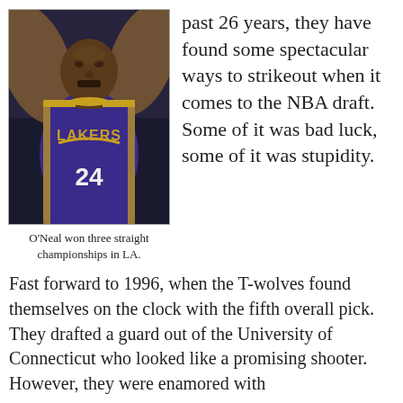[Figure (photo): Basketball player in a purple Los Angeles Lakers jersey (#24) looking upward, arms raised]
O'Neal won three straight championships in LA.
past 26 years, they have found some spectacular ways to strikeout when it comes to the NBA draft. Some of it was bad luck, some of it was stupidity.
Fast forward to 1996, when the T-wolves found themselves on the clock with the fifth overall pick. They drafted a guard out of the University of Connecticut who looked like a promising shooter. However, they were enamored with